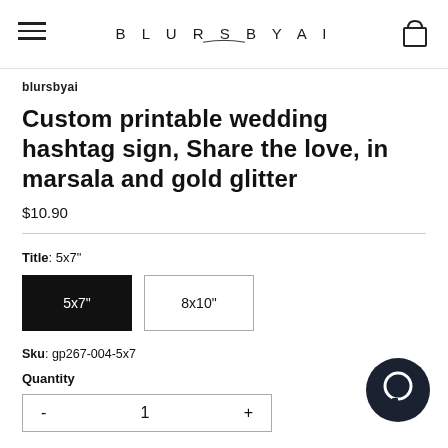BLURSBYAI
blursbyai
Custom printable wedding hashtag sign, Share the love, in marsala and gold glitter
$10.90
Title: 5x7"
5x7"
8x10"
Sku: gp267-004-5x7
Quantity
- 1 +